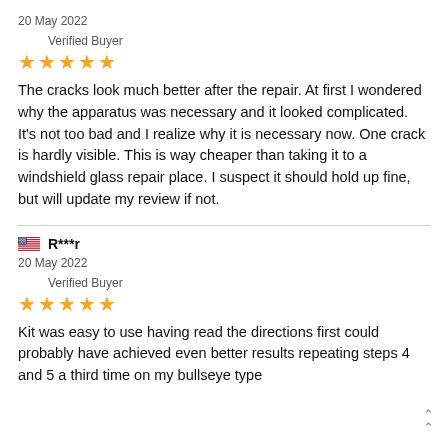20 May 2022
Verified Buyer
★★★★★
The cracks look much better after the repair. At first I wondered why the apparatus was necessary and it looked complicated. It's not too bad and I realize why it is necessary now. One crack is hardly visible. This is way cheaper than taking it to a windshield glass repair place. I suspect it should hold up fine, but will update my review if not.
R***r
20 May 2022
Verified Buyer
★★★★★
Kit was easy to use having read the directions first could probably have achieved even better results repeating steps 4 and 5 a third time on my bullseye type